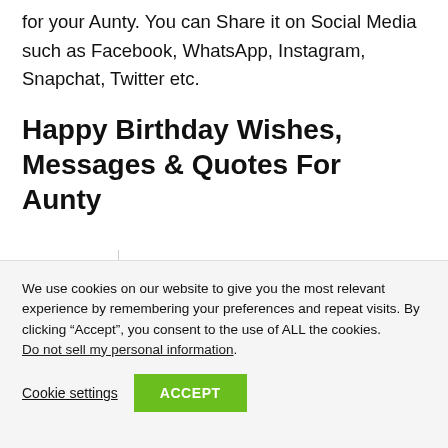for your Aunty. You can Share it on Social Media such as Facebook, WhatsApp, Instagram, Snapchat, Twitter etc.
Happy Birthday Wishes, Messages & Quotes For Aunty
We use cookies on our website to give you the most relevant experience by remembering your preferences and repeat visits. By clicking “Accept”, you consent to the use of ALL the cookies. Do not sell my personal information.
Cookie settings  ACCEPT